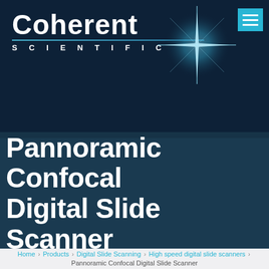[Figure (logo): Coherent Scientific logo with star graphic and hamburger menu icon on dark navy background]
Pannoramic Confocal Digital Slide Scanner
Home > Products > Digital Slide Scanning > High speed digital slide scanners > Pannoramic Confocal Digital Slide Scanner